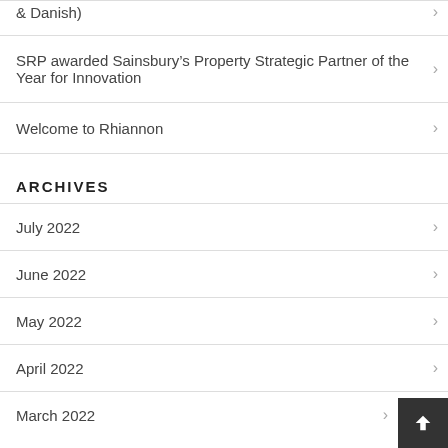& Danish)
SRP awarded Sainsbury's Property Strategic Partner of the Year for Innovation
Welcome to Rhiannon
ARCHIVES
July 2022
June 2022
May 2022
April 2022
March 2022